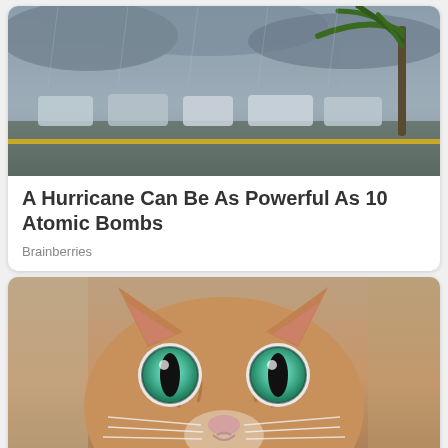[Figure (photo): A stormy scene showing a parking lot with cars and a palm tree bending in strong hurricane winds]
A Hurricane Can Be As Powerful As 10 Atomic Bombs
Brainberries
[Figure (photo): Close-up photo of a cat's face with striking large green eyes looking directly at the camera]
Best Cat Breeds For All 12 Horoscope Signs